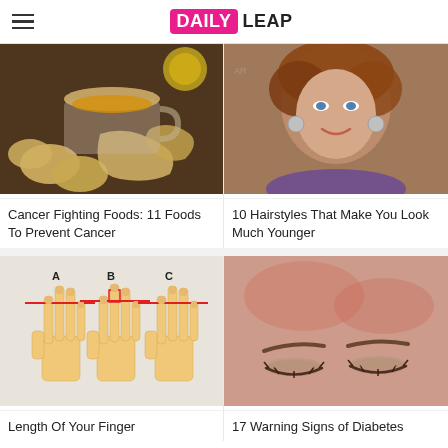DAILY LEAP
[Figure (photo): A cup of ginger tea with sliced ginger pieces on a dark wooden surface with lemon in background]
Cancer Fighting Foods: 11 Foods To Prevent Cancer
[Figure (photo): A smiling middle-aged woman with short auburn hair wearing earrings and purple top]
10 Hairstyles That Make You Look Much Younger
[Figure (illustration): Illustration showing three hands labeled A, B, C with finger length comparisons marked by red lines]
Length Of Your Finger
[Figure (photo): Close-up of a person's forehead and eyes with skin showing redness, eyes closed]
17 Warning Signs of Diabetes